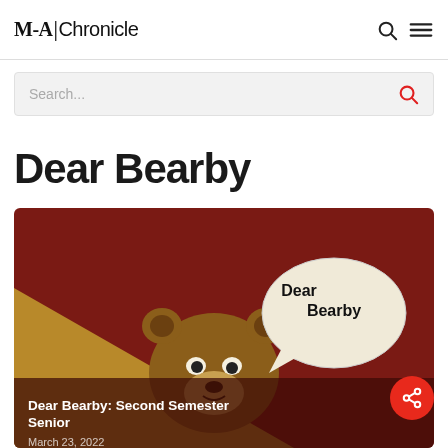M-A|Chronicle
Search...
Dear Bearby
[Figure (illustration): Illustrated bear cartoon with a speech bubble saying 'Dear Bearby', set against a dark red and tan diagonal background. Overlay text reads: Dear Bearby: Second Semester Senior, March 23, 2022]
Dear Bearby: Second Semester Senior
March 23, 2022